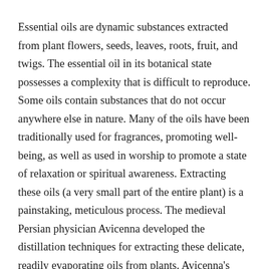Essential oils are dynamic substances extracted from plant flowers, seeds, leaves, roots, fruit, and twigs. The essential oil in its botanical state possesses a complexity that is difficult to reproduce. Some oils contain substances that do not occur anywhere else in nature. Many of the oils have been traditionally used for fragrances, promoting well-being, as well as used in worship to promote a state of relaxation or spiritual awareness. Extracting these oils (a very small part of the entire plant) is a painstaking, meticulous process. The medieval Persian physician Avicenna developed the distillation techniques for extracting these delicate, readily evaporating oils from plants. Avicenna's discoveries have stood the test of time. For Nature's Alchemy oils, we are committed to using only steam distillation or cold pressing. Our high-quality Pure Essential Oils are scientifically tested for purity and